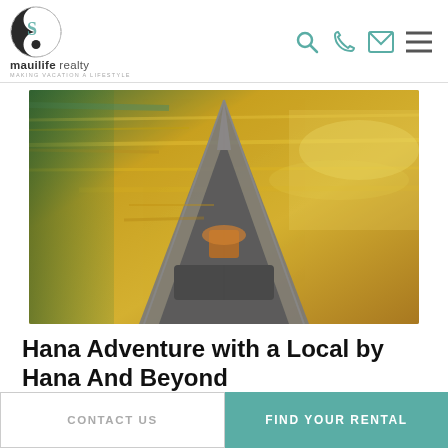mauilife realty — MAKING VACATION A LIFESTYLE
[Figure (photo): View from inside a canoe looking over the bow toward shimmering golden water with green trees in the background]
Hana Adventure with a Local by Hana And Beyond
VISIT WEBSITE